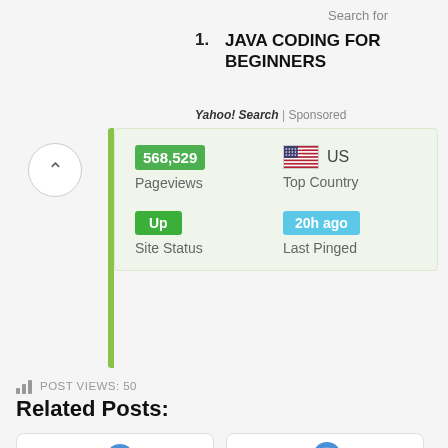Search for
1. JAVA CODING FOR BEGINNERS
Yahoo! Search | Sponsored
568,529 Pageviews | US Top Country | Up Site Status | 20h ago Last Pinged
POST VIEWS: 50
Related Posts:
[Figure (illustration): Pushpin on sticky note illustration (left card)]
[Figure (illustration): Pushpin on sticky note illustration with Student Classdojo label (right card)]